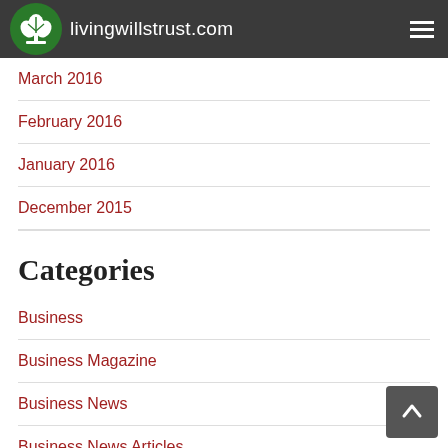livingwillstrust.com
March 2016
February 2016
January 2016
December 2015
Categories
Business
Business Magazine
Business News
Business News Articles
Business News Today